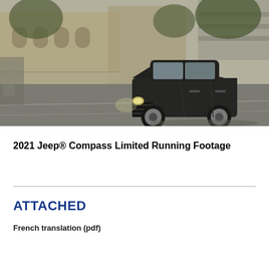[Figure (photo): A dark grey Jeep Compass Limited SUV driving on a city street, with buildings and trees in the background. The vehicle has its headlights on and is photographed from a front-quarter angle.]
2021 Jeep® Compass Limited Running Footage
ATTACHED
French translation (pdf)